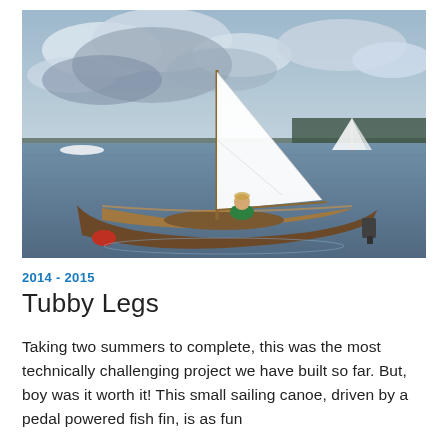[Figure (photo): A child in a green shirt sitting in a wooden sailing canoe with a large white sail on open water. Other sailboats visible in the background. The boat has a wooden deck and an outboard motor attached.]
2014 - 2015
Tubby Legs
Taking two summers to complete, this was the most technically challenging project we have built so far. But, boy was it worth it! This small sailing canoe, driven by a pedal powered fish fin, is as fun